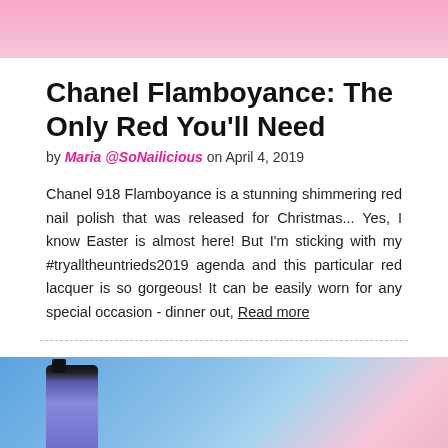[Figure (photo): Top portion of a pink-toned beauty/nail image cropped at top of page]
Chanel Flamboyance: The Only Red You'll Need
by Maria @SoNailicious on April 4, 2019
Chanel 918 Flamboyance is a stunning shimmering red nail polish that was released for Christmas... Yes, I know Easter is almost here! But I'm sticking with my #tryalltheuntrieds2019 agenda and this particular red lacquer is so gorgeous! It can be easily worn for any special occasion - dinner out, Read more
[Figure (photo): Bottom image showing a blue nail polish bottle with blue-painted nails on a blue background]